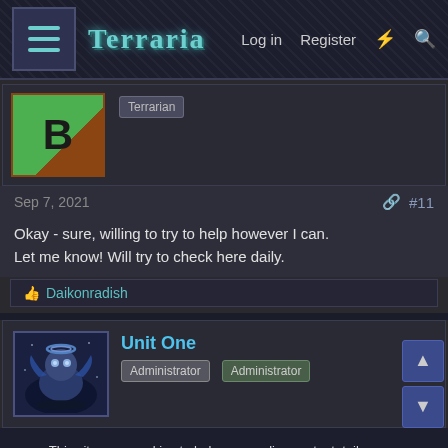Terraria — Log in  Register
[Figure (screenshot): User avatar with green background and letter B, with Terrarian badge]
Sep 7, 2021  #11
Okay - sure, willing to try to help however I can.
Let me know! Will try to check here daily.
👍 Daikonradish
[Figure (photo): Unit One administrator avatar showing a fantasy character]
Unit One
Administrator  Administrator
This site uses cookies to help personalise content, tailor your experience and to keep you logged in if you register.
By continuing to use this site, you are consenting to our use of cookies.
✓ Accept   Learn more...